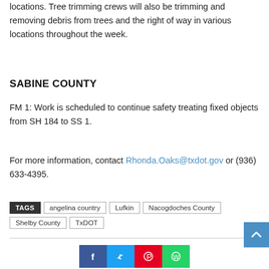FM 8 to: Crews will repair fuse and base failures in various locations. Tree trimming crews will also be trimming and removing debris from trees and the right of way in various locations throughout the week.
SABINE COUNTY
FM 1: Work is scheduled to continue safety treating fixed objects from SH 184 to SS 1.
For more information, contact Rhonda.Oaks@txdot.gov or (936) 633-4395.
TAGS: angelina country | Lufkin | Nacogdoches County | Shelby County | TxDOT